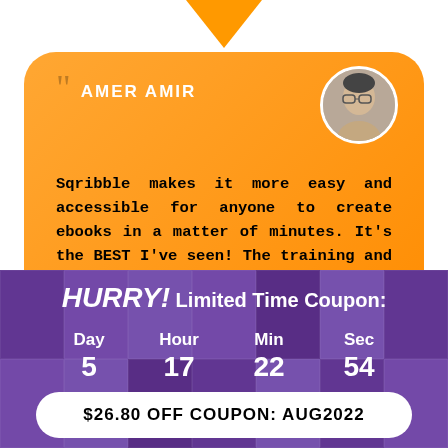[Figure (illustration): Orange downward-pointing triangle at the top center of the page]
AMER AMIR
[Figure (photo): Circular avatar photo of a man with glasses on an orange background card]
Sqribble makes it more easy and accessible for anyone to create ebooks in a matter of minutes. It's the BEST I've seen! The training and support is fantastic.
[Figure (illustration): Green circular help/question button on the left side]
HURRY! Limited Time Coupon:
Day 5  Hour 17  Min 22  Sec 54
$26.80 OFF COUPON: AUG2022